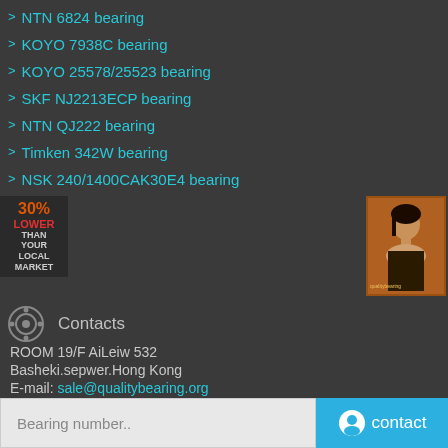> NTN 6824 bearing
> KOYO 7938C bearing
> KOYO 25578/25523 bearing
> SKF NJ2213ECP bearing
> NTN QJ222 bearing
> Timken 342W bearing
> NSK 240/1400CAK30E4 bearing
[Figure (infographic): Promo badge: 30% LOWER THAN YOUR LOCAL MARKET]
[Figure (photo): Advertisement image of a woman on brown background]
Contacts
ROOM 19/F AiLeiw 532
Basheki.sepwer.Hong Kong
E-mail: sale@qualitybearing.org
Copyright © 2019. Company name All rights reserved.
Bearing number..
contact